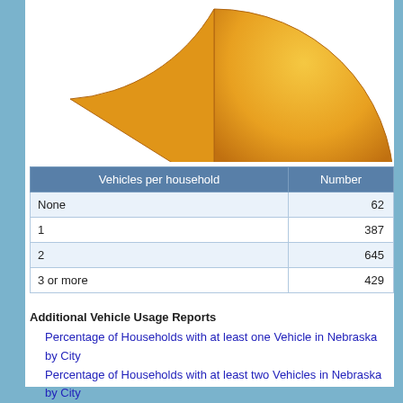[Figure (pie-chart): Partial pie chart visible at top of page, showing orange/gold colored slices, cropped]
| Vehicles per household | Number |
| --- | --- |
| None | 62 |
| 1 | 387 |
| 2 | 645 |
| 3 or more | 429 |
Additional Vehicle Usage Reports
Percentage of Households with at least one Vehicle in Nebraska by City
Percentage of Households with at least two Vehicles in Nebraska by City
Download Data